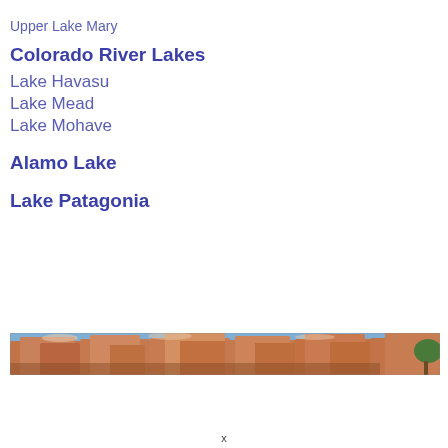Upper Lake Mary
Colorado River Lakes
Lake Havasu
Lake Mead
Lake Mohave
Alamo Lake
Lake Patagonia
[Figure (photo): A panoramic photo strip showing red rock canyon formations (likely the Grand Canyon) with blue sky and some green vegetation visible at the right edge.]
x